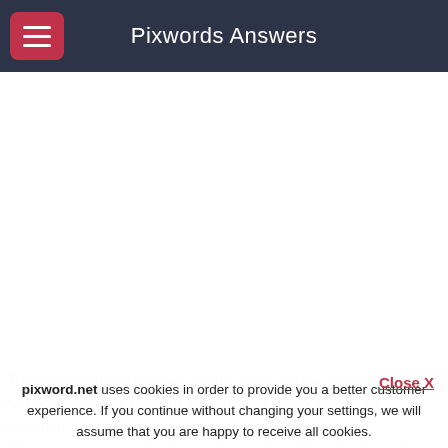Pixwords Answers
The image with earth, layers, care, terra, yellow, orange, red... Answers pixwords for your search. Take a more accurate selection of responses pixwords choose the exact number of letters of that word - including spaces. The results will definitely
pixword.net uses cookies in order to provide you a better customer experience. If you continue without changing your settings, we will assume that you are happy to receive all cookies. Otherwise you can find out how to manage your cookie here.